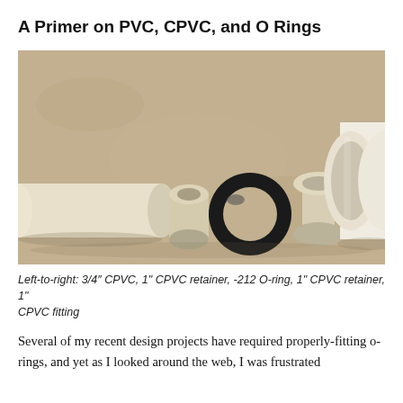A Primer on PVC, CPVC, and O Rings
[Figure (photo): Photo showing PVC and CPVC pipe components laid out left to right on a tan/brown surface: a 3/4 inch CPVC pipe stub, a 1 inch CPVC retainer ring, a black -212 O-ring, a 1 inch CPVC retainer, and a 1 inch CPVC fitting (large white pipe end).]
Left-to-right: 3/4″ CPVC, 1″ CPVC retainer, -212 O-ring, 1″ CPVC retainer, 1″ CPVC fitting
Several of my recent design projects have required properly-fitting o-rings, and yet as I looked around the web, I was frustrated